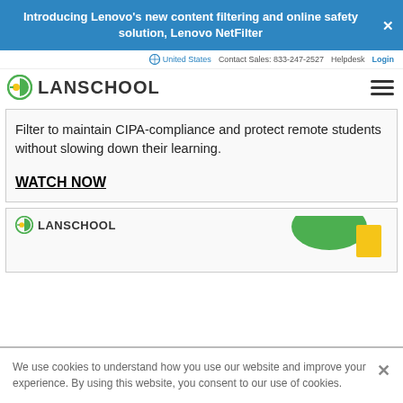Introducing Lenovo's new content filtering and online safety solution, Lenovo NetFilter
United States  Contact Sales: 833-247-2527  Helpdesk  Login
[Figure (logo): LanSchool logo with circular green and yellow icon and LANSCHOOL text, plus hamburger menu icon]
Filter to maintain CIPA-compliance and protect remote students without slowing down their learning.
WATCH NOW
[Figure (screenshot): LanSchool logo and partial bar chart graphic showing green and yellow bars]
We use cookies to understand how you use our website and improve your experience. By using this website, you consent to our use of cookies.